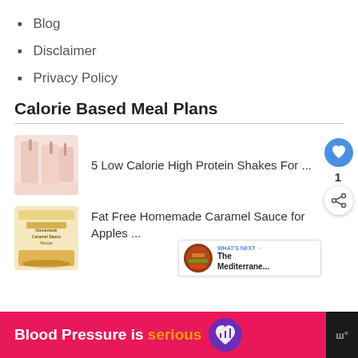Blog
Disclaimer
Privacy Policy
Calorie Based Meal Plans
[Figure (photo): Thumbnail image of pink milkshakes with straws]
5 Low Calorie High Protein Shakes For ...
[Figure (photo): Thumbnail image of Homemade Caramel Sauce Recipe]
Fat Free Homemade Caramel Sauce for Apples ...
WHAT'S NEXT → The Mediterrane...
[Figure (infographic): Advertisement banner: Blood Pressure is serious with purple heart icon]